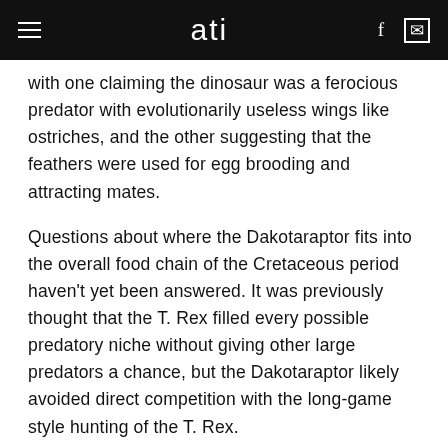ati
with one claiming the dinosaur was a ferocious predator with evolutionarily useless wings like ostriches, and the other suggesting that the feathers were used for egg brooding and attracting mates.
Questions about where the Dakotaraptor fits into the overall food chain of the Cretaceous period haven't yet been answered. It was previously thought that the T. Rex filled every possible predatory niche without giving other large predators a chance, but the Dakotaraptor likely avoided direct competition with the long-game style hunting of the T. Rex.